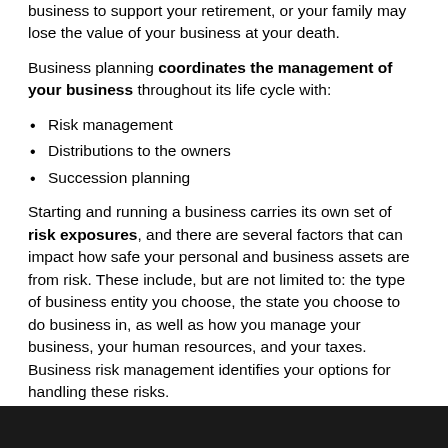business to support your retirement, or your family may lose the value of your business at your death.
Business planning coordinates the management of your business throughout its life cycle with:
Risk management
Distributions to the owners
Succession planning
Starting and running a business carries its own set of risk exposures, and there are several factors that can impact how safe your personal and business assets are from risk. These include, but are not limited to: the type of business entity you choose, the state you choose to do business in, as well as how you manage your business, your human resources, and your taxes. Business risk management identifies your options for handling these risks.
Executive compensation focuses on both cash and noncash approaches. The size and structure of the business significantly influences your compensation s